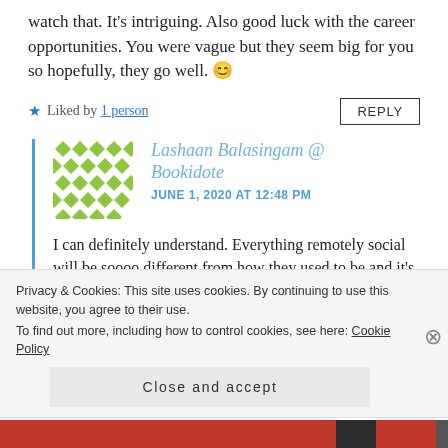watch that. It's intriguing. Also good luck with the career opportunities. You were vague but they seem big for you so hopefully, they go well. 😊
★ Liked by 1 person
Lashaan Balasingam @ Bookidote
JUNE 1, 2020 AT 12:48 PM
I can definitely understand. Everything remotely social will be soooo different from how they used to be and it's definitely not going to be any easier!
Privacy & Cookies: This site uses cookies. By continuing to use this website, you agree to their use.
To find out more, including how to control cookies, see here: Cookie Policy
Close and accept